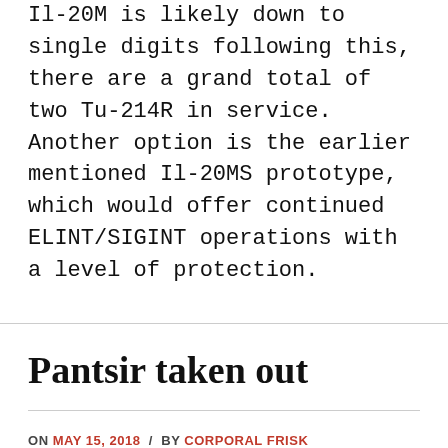Il-20M is likely down to single digits following this, there are a grand total of two Tu-214R in service. Another option is the earlier mentioned Il-20MS prototype, which would offer continued ELINT/SIGINT operations with a level of protection.
Pantsir taken out
ON MAY 15, 2018 / BY CORPORAL FRISK / 2 COMMENTS